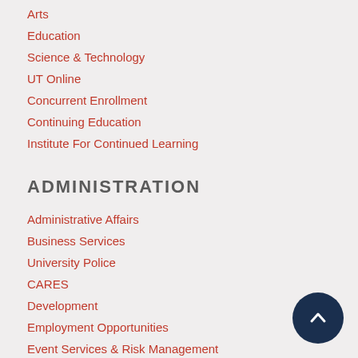Arts
Education
Science & Technology
UT Online
Concurrent Enrollment
Continuing Education
Institute For Continued Learning
ADMINISTRATION
Administrative Affairs
Business Services
University Police
CARES
Development
Employment Opportunities
Event Services & Risk Management
Facilities Management